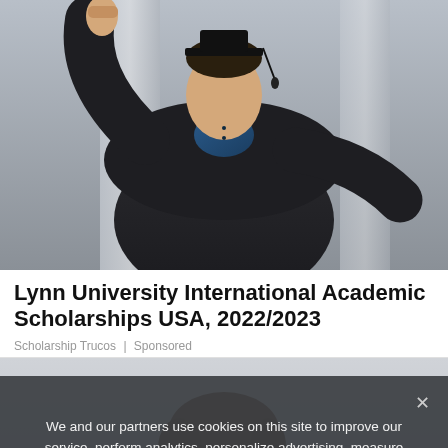[Figure (photo): A male graduate in black graduation gown and cap, raising his fist in celebration, standing in front of a column. Wearing a blue shirt underneath.]
Lynn University International Academic Scholarships USA, 2022/2023
Scholarship Trucos | Sponsored
[Figure (photo): A young woman with curly hair laughing and celebrating, light gray background.]
We and our partners use cookies on this site to improve our service, perform analytics, personalize advertising, measure advertising performance, and remember website preferences.